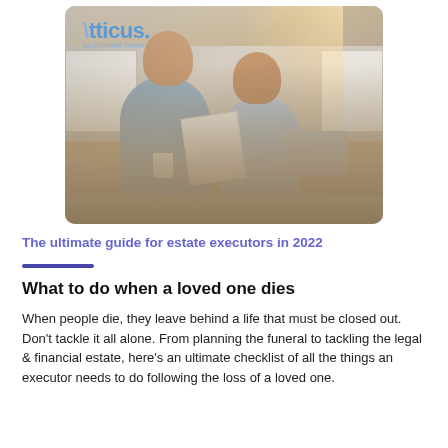[Figure (photo): A stressed couple sitting at a kitchen table looking at documents and a laptop. The Atticus logo and 'an Ultimate Guide' tagline appear in the upper left of the image.]
The ultimate guide for estate executors in 2022
What to do when a loved one dies
When people die, they leave behind a life that must be closed out. Don't tackle it all alone. From planning the funeral to tackling the legal & financial estate, here's an ultimate checklist of all the things an executor needs to do following the loss of a loved one.